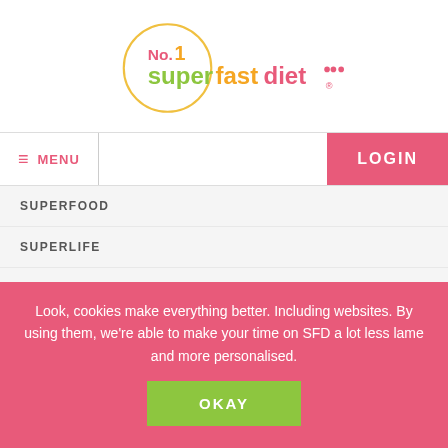[Figure (logo): No.1 Superfastdiet logo with circle, colored text in pink, green, orange and pink]
≡ MENU
LOGIN
SUPERFOOD
SUPERLIFE
SELF-CARE
LATEST SUPERFAST
Look, cookies make everything better. Including websites. By using them, we're able to make your time on SFD a lot less lame and more personalised.
OKAY